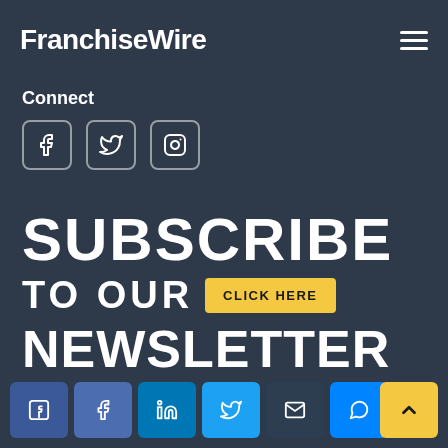FranchiseWire
Connect
[Figure (infographic): Three social media icons in rounded square outlines: Facebook, Twitter, Instagram]
SUBSCRIBE TO OUR NEWSLETTER — CLICK HERE
[Figure (infographic): Bottom share bar with social sharing buttons: Facebook (dark), Facebook (light), LinkedIn, Twitter, Email, Messenger, and a yellow back-to-top arrow button]